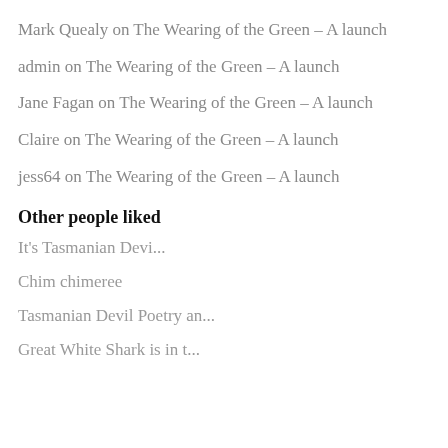Mark Quealy on The Wearing of the Green – A launch
admin on The Wearing of the Green – A launch
Jane Fagan on The Wearing of the Green – A launch
Claire on The Wearing of the Green – A launch
jess64 on The Wearing of the Green – A launch
Other people liked
It's Tasmanian Devi...
Chim chimeree
Tasmanian Devil Poetry an...
Great White Shark is in t...